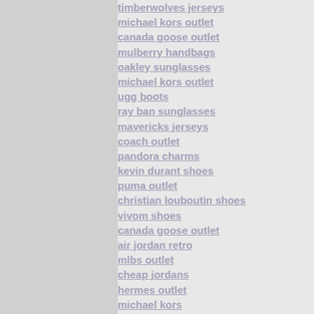timberwolves jerseys
michael kors outlet
canada goose outlet
mulberry handbags
oakley sunglasses
michael kors outlet
ugg boots
ray ban sunglasses
mavericks jerseys
coach outlet
pandora charms
kevin durant shoes
puma outlet
christian louboutin shoes
vivom shoes
canada goose outlet
air jordan retro
mlbs outlet
cheap jordans
hermes outlet
michael kors
cheap mlb jerseys
canada goose jackets
ugg outlet
adidas uk
air max 2017
michael kors outlet